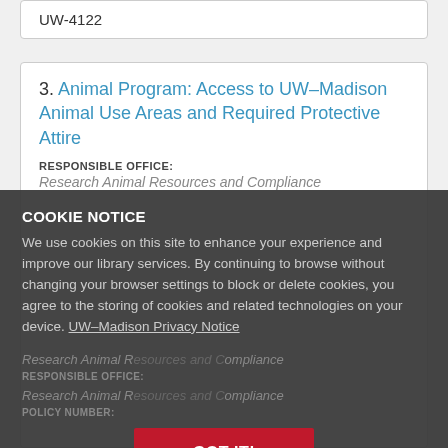UW-4122
3. Animal Program: Access to UW–Madison Animal Use Areas and Required Protective Attire
RESPONSIBLE OFFICE:
Research Animal Resources and Compliance
POLICY NUMBER:
COOKIE NOTICE
We use cookies on this site to enhance your experience and improve our library services. By continuing to browse without changing your browser settings to block or delete cookies, you agree to the storing of cookies and related technologies on your device. UW–Madison Privacy Notice
GOT IT!
RESPONSIBLE OFFICE:
Research Animal Resources and Compliance
POLICY NUMBER: